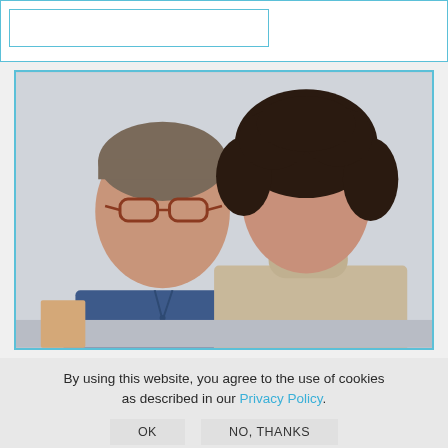[Figure (photo): Top navigation bar with blue bordered input/search box on the left]
[Figure (photo): Photo of two people standing side by side: a man on the left wearing glasses and a blue v-neck t-shirt, and a woman on the right with curly dark hair wearing a beige turtleneck sweater. Background is light gray/white.]
By using this website, you agree to the use of cookies as described in our Privacy Policy.
OK
NO, THANKS